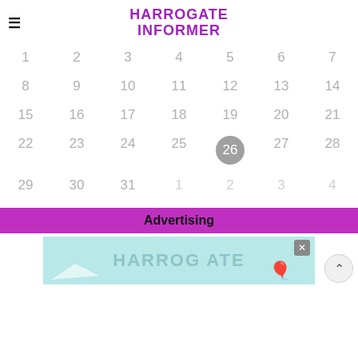HARROGATE INFORMER
[Figure (other): Monthly calendar grid showing dates 1-31 with day 26 highlighted in a grey circle. Days 1-4 and 1-4 of next month shown in lighter grey.]
Advertising
[Figure (screenshot): Partial advertisement banner for Harrogate Informer with light blue/teal background, showing text HARROGATE and a hot air balloon icon. An X close button is visible top right.]